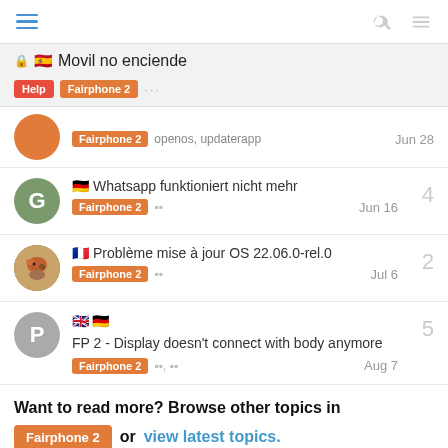Navigation header with hamburger menu, search, and menu icons
🔒 🇪🇸 Movil no enciende
Fairphone 2  openos, updaterapp   Jun 28
🇩🇪 Whatsapp funktioniert nicht mehr  Fairphone 2  Jun 16  4
🇫🇷 Problème mise à jour OS 22.06.0-rel.0  Fairphone 2  Jul 6  2
🇬🇧🇩🇪 FP 2 - Display doesn't connect with body anymore  Fairphone 2  Aug 7  5
Want to read more? Browse other topics in Fairphone 2 or view latest topics.